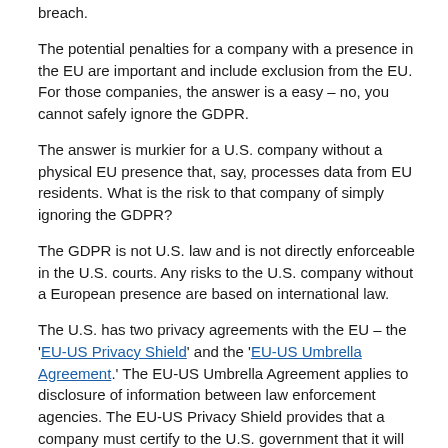breach.
The potential penalties for a company with a presence in the EU are important and include exclusion from the EU.  For those companies, the answer is a easy – no, you cannot safely ignore the GDPR.
The answer is murkier for a U.S. company without a physical EU presence that, say, processes data from EU residents.   What is the risk to that company of simply ignoring the GDPR?
The GDPR is not U.S. law and is not directly enforceable in the U.S. courts.  Any risks to the U.S. company without a European presence are based on international law.
The U.S. has two privacy agreements with the EU – the 'EU-US Privacy Shield' and the 'EU-US Umbrella Agreement.'  The EU-US Umbrella Agreement applies to disclosure of information between law enforcement agencies.  The EU-US Privacy Shield provides that a company must certify to the U.S. government that it will take prescribed steps to protect the privacy of EU residents in order to receive data concerning those residents.  By so certifying, the company subjects itself to the jurisdiction of the U.S. courts and of the U.S. International Trade Commission (ITC).  If the company does not meet the